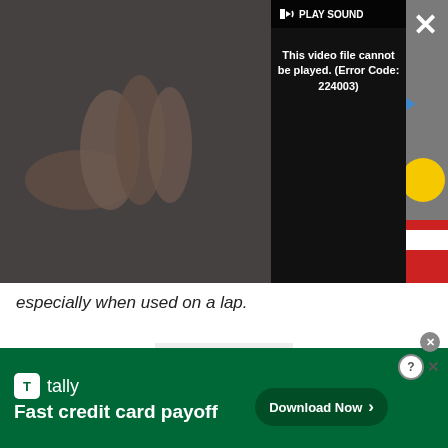[Figure (screenshot): Video player showing error message 'This video file cannot be played. (Error Code: 224003)' with PLAY SOUND button, close X button, and expand arrows. Left side shows partial video thumbnail.]
especially when used on a lap.
Advertisement
[Figure (screenshot): Tally advertisement banner: 'Fast credit card payoff' with Download Now button, help and close icons in top right corner.]